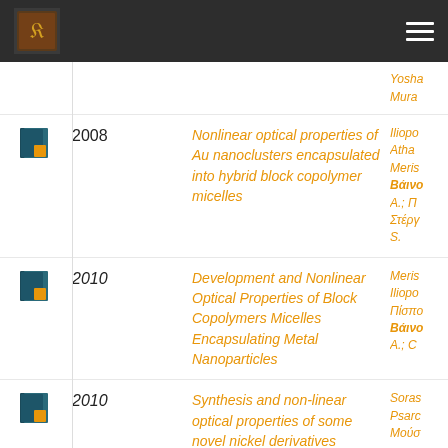Navigation header with logo and menu
Yosha
Mura
2008 | Nonlinear optical properties of Au nanoclusters encapsulated into hybrid block copolymer micelles | Iliopo Athar Meris Báino A.; Π Στέργ S.
2010 | Development and Nonlinear Optical Properties of Block Copolymers Micelles Encapsulating Metal Nanoparticles | Meris Iliopo Πίσπο Βάινο A.; C
2010 | Synthesis and non-linear optical properties of some novel nickel derivatives | Soras Psarc Μούσ